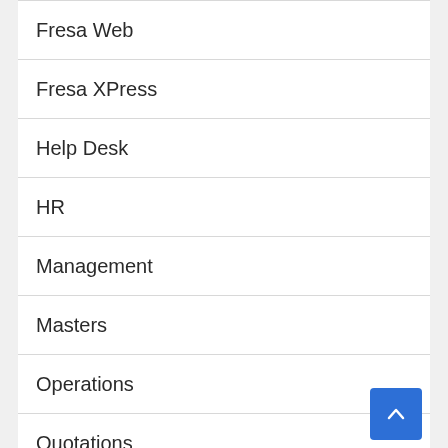Fresa Web
Fresa XPress
Help Desk
HR
Management
Masters
Operations
Quotations